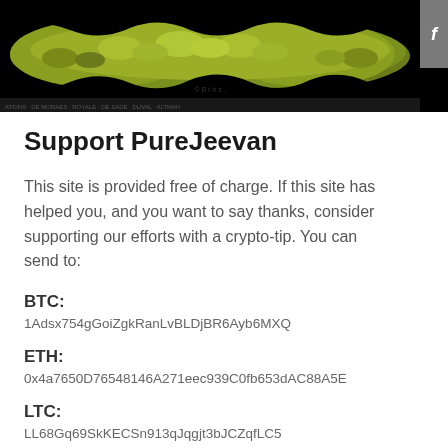[Figure (photo): Top portion of a webpage showing a green moss-textured image on black background with a gray Facebook tab on the right side]
Support PureJeevan
This site is provided free of charge. If this site has helped you, and you want to say thanks, consider supporting our efforts with a crypto-tip. You can send to:
BTC:
1Adsx754gGoiZgkRanLvBLDjBR6Ayb6MXQ
ETH:
0x4a7650D76548146A271eec939C0fb653dAC88A5E
LTC:
LL68Gq69SkKECSn913qJqgjt3bJCZqfLC5